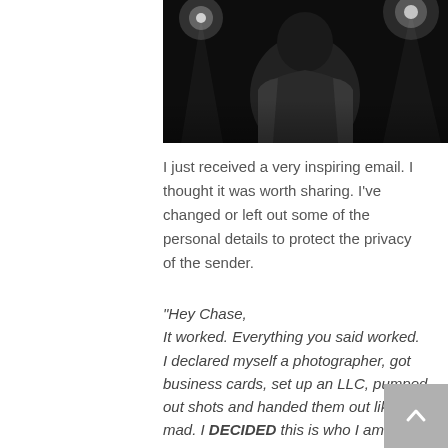[Figure (photo): Black and white photo of a person in a leather jacket with bright stage lights in the background]
I just received a very inspiring email. I thought it was worth sharing. I've changed or left out some of the personal details to protect the privacy of the sender.
“Hey Chase,
It worked. Everything you said worked. I declared myself a photographer, got business cards, set up an LLC, pumped out shots and handed them out like mad. I DECIDED this is who I am, and it’s like the whole world conspired in my favor. The best part is that my Dad who always told